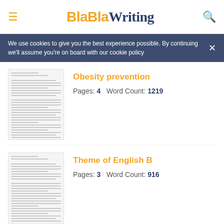BlaBlaWriting
We use cookies to give you the best experience possible. By continuing we'll assume you're on board with our cookie policy
Obesity prevention
Pages: 4   Word Count: 1219
Theme of English B
Pages: 3   Word Count: 916
Related Topics
Alcohol
Beer